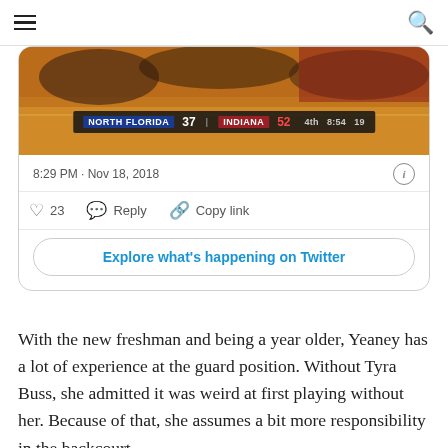[Figure (screenshot): Screenshot of a basketball game scoreboard showing North Florida 37, Indiana 52, 4th quarter, 8:54 remaining, +19]
8:29 PM · Nov 18, 2018
23   Reply   Copy link
Explore what's happening on Twitter
With the new freshman and being a year older, Yeaney has a lot of experience at the guard position. Without Tyra Buss, she admitted it was weird at first playing without her. Because of that, she assumes a bit more responsibility in the backcourt.